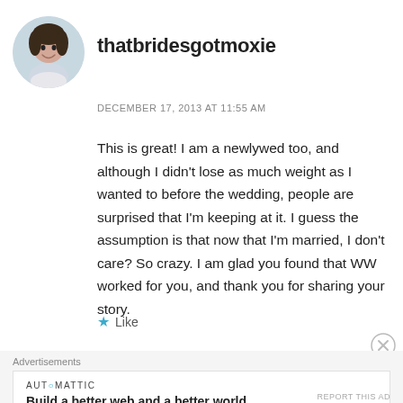[Figure (photo): Circular avatar photo of a young woman smiling, wearing a light-colored top]
thatbridesgotmoxie
DECEMBER 17, 2013 AT 11:55 AM
This is great! I am a newlywed too, and although I didn't lose as much weight as I wanted to before the wedding, people are surprised that I'm keeping at it. I guess the assumption is that now that I'm married, I don't care? So crazy. I am glad you found that WW worked for you, and thank you for sharing your story.
Like
Advertisements
AUTOMATTIC
Build a better web and a better world.